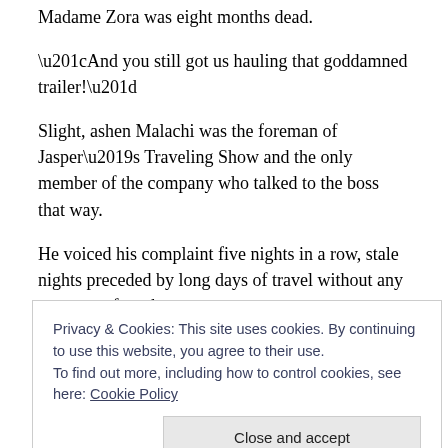Madame Zora was eight months dead.
“And you still got us hauling that goddamned trailer!”
Slight, ashen Malachi was the foreman of Jasper’s Traveling Show and the only member of the company who talked to the boss that way.
He voiced his complaint five nights in a row, stale nights preceded by long days of travel without any prospect of work.
Jasper, a burly man of indeterminate middle-age with a
Privacy & Cookies: This site uses cookies. By continuing to use this website, you agree to their use.
To find out more, including how to control cookies, see here: Cookie Policy
He shook his head as Malachi stormed out in disgust.